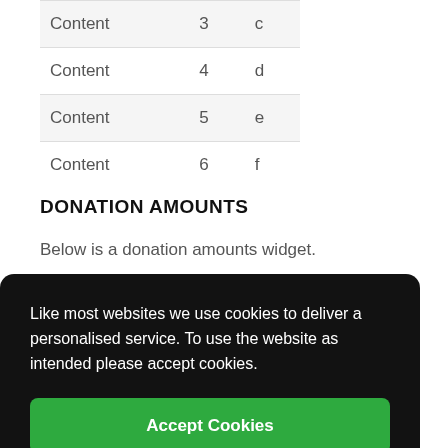| Content | 3 | c |
| Content | 4 | d |
| Content | 5 | e |
| Content | 6 | f |
DONATION AMOUNTS
Below is a donation amounts widget.
[Figure (screenshot): Cookie consent overlay on dark background with 'Accept Cookies' green button, and partial view of a donation widget showing £35 on a dark red background with white circles on the right side.]